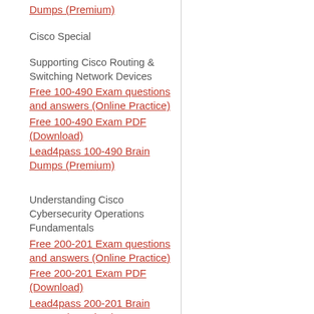Dumps (Premium)
Cisco Special
Supporting Cisco Routing & Switching Network Devices
Free 100-490 Exam questions and answers (Online Practice)
Free 100-490 Exam PDF (Download)
Lead4pass 100-490 Brain Dumps (Premium)
Understanding Cisco Cybersecurity Operations Fundamentals
Free 200-201 Exam questions and answers (Online Practice)
Free 200-201 Exam PDF (Download)
Lead4pass 200-201 Brain Dumps (Premium)